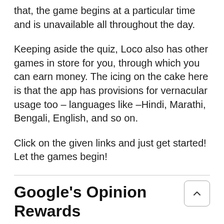that, the game begins at a particular time and is unavailable all throughout the day.
Keeping aside the quiz, Loco also has other games in store for you, through which you can earn money. The icing on the cake here is that the app has provisions for vernacular usage too – languages like –Hindi, Marathi, Bengali, English, and so on.
Click on the given links and just get started! Let the games begin!
Google's Opinion Rewards